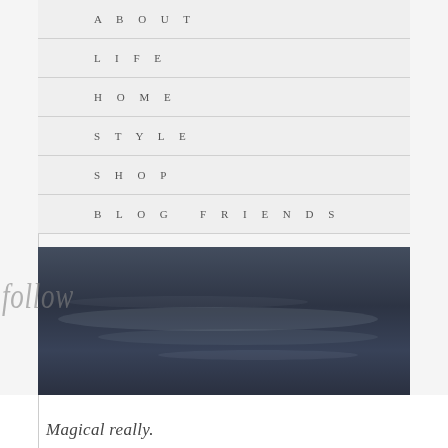ABOUT
LIFE
HOME
STYLE
SHOP
BLOG FRIENDS
[Figure (photo): Dark moody sky or water photograph with streaks of lighter grey tones, dark blue-grey tones overall]
follow
Magical really.